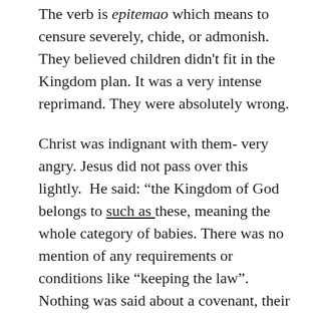The verb is epitemao which means to censure severely, chide, or admonish. They believed children didn't fit in the Kingdom plan. It was a very intense reprimand. They were absolutely wrong.
Christ was indignant with them- very angry. Jesus did not pass over this lightly.  He said: “the Kingdom of God belongs to such as these, meaning the whole category of babies. There was no mention of any requirements or conditions like “keeping the law”. Nothing was said about a covenant, their parent’s righteousness,